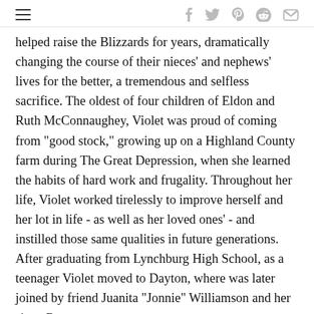[hamburger menu] [social icons: f, twitter, pinterest, reddit, mail]
helped raise the Blizzards for years, dramatically changing the course of their nieces' and nephews' lives for the better, a tremendous and selfless sacrifice. The oldest of four children of Eldon and Ruth McConnaughey, Violet was proud of coming from "good stock," growing up on a Highland County farm during The Great Depression, when she learned the habits of hard work and frugality. Throughout her life, Violet worked tirelessly to improve herself and her lot in life - as well as her loved ones' - and instilled those same qualities in future generations. After graduating from Lynchburg High School, as a teenager Violet moved to Dayton, where was later joined by friend Juanita "Jonnie" Williamson and her sister Rowena.